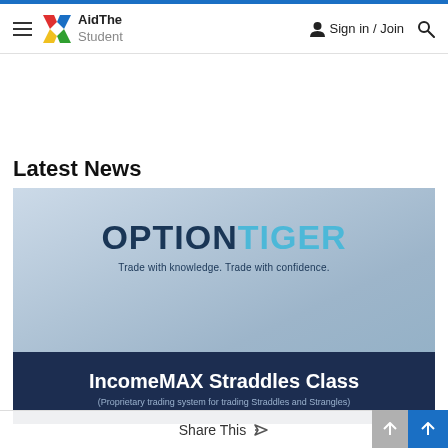AidThe Student — Sign in / Join
Latest News
[Figure (photo): OptionTiger promotional banner showing 'OPTIONTIGER — Trade with knowledge. Trade with confidence.' with a dark band at the bottom reading 'IncomeMAX Straddles Class (Proprietary trading system for trading Straddles and Strangles)']
Share This